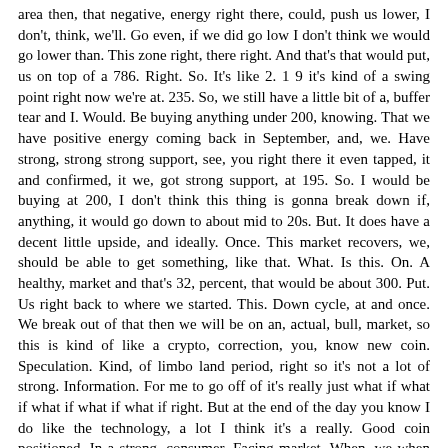area then, that negative, energy right there, could, push us lower, I don't, think, we'll. Go even, if we did go low I don't think we would go lower than. This zone right, there right. And that's that would put, us on top of a 786. Right. So. It's like 2. 1 9 it's kind of a swing point right now we're at. 235. So, we still have a little bit of a, buffer tear and I. Would. Be buying anything under 200, knowing. That we have positive energy coming back in September, and, we. Have strong, strong strong support, see, you right there it even tapped, it and confirmed, it we, got strong support, at 195. So. I would be buying at 200, I don't think this thing is gonna break down if, anything, it would go down to about mid to 20s. But. It does have a decent little upside, and ideally. Once. This market recovers, we, should be able to get something, like that. What. Is this. On. A healthy, market and that's 32, percent, that would be about 300. Put. Us right back to where we started. This. Down cycle, at and once. We break out of that then we will be on an, actual, bull, market, so this is kind of like a crypto, correction, you, know new coin. Speculation. Kind, of limbo land period, right so it's not a lot of strong. Information. For me to go off of it's really just what if what if what if what if what if right. But at the end of the day you know I do like the technology, a lot I think it's a really. Good coin positioned. In a strong, consumer. Facing market. When, we when we when we talk about these opportunity, in business schools this is a b2b, to see play. An. Aggregator. So to speak on a distributed, network, creating, their own interface. This, is what I tried to convince my, bank to do back. When I had a 401k, and a cubicle, and the name tag on the door and all that good stuff they, they weren't listening so I said okay thank you have a nice day you know and I traded my cubicle, my 401k, in for my phone and a conscience and now I'm helping you make money told, him to look by Bitcoin one Bitcoin was six hundred bucks they looked at me like I was crazy you. Know but these guys actually know what they're doing and so they're taking this aggregator, model kinda to a b2b b2c, concierge. Aggregator. Interface. Doing the supply chain logistics on the inside with the QR codes on the blockchain and IoT. To see where...